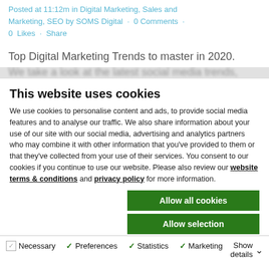Posted at 11:12m in Digital Marketing, Sales and Marketing, SEO by SOMS Digital · 0 Comments · 0 Likes · Share
Top Digital Marketing Trends to master in 2020. We take a look at the latest social media trends, SEO, email marketing and automation trends for
This website uses cookies
We use cookies to personalise content and ads, to provide social media features and to analyse our traffic. We also share information about your use of our site with our social media, advertising and analytics partners who may combine it with other information that you've provided to them or that they've collected from your use of their services. You consent to our cookies if you continue to use our website. Please also review our website terms & conditions and privacy policy for more information.
Allow all cookies
Allow selection
Use necessary cookies only
Necessary   Preferences   Statistics   Marketing   Show details